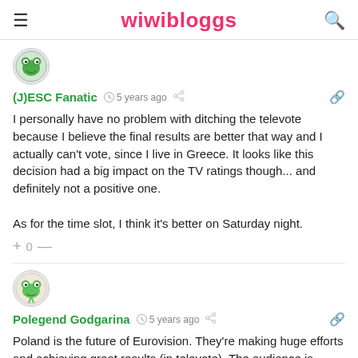wiwibloggs
(J)ESC Fanatic  5 years ago
I personally have no problem with ditching the televote because I believe the final results are better that way and I actually can't vote, since I live in Greece. It looks like this decision had a big impact on the TV ratings though... and definitely not a positive one.

As for the time slot, I think it's better on Saturday night.
+ 0 —
Polegend Godgarina  5 years ago
Poland is the future of Eurovision. They're making huge efforts and achieving great results (in televote). The audience is perched. Their victory is upon us, and I hope they achieve it